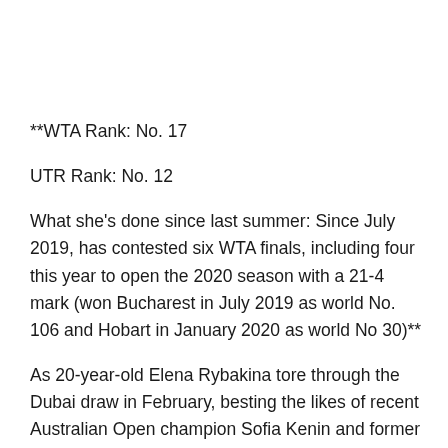**WTA Rank: No. 17
UTR Rank: No. 12
What she's done since last summer: Since July 2019, has contested six WTA finals, including four this year to open the 2020 season with a 21-4 mark (won Bucharest in July 2019 as world No. 106 and Hobart in January 2020 as world No 30)**
As 20-year-old Elena Rybakina tore through the Dubai draw in February, besting the likes of recent Australian Open champion Sofia Kenin and former